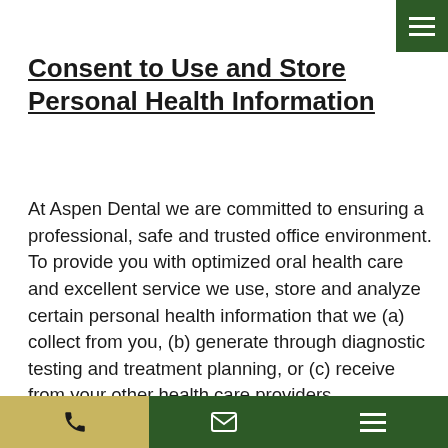Consent to Use and Store Personal Health Information
At Aspen Dental we are committed to ensuring a professional, safe and trusted office environment. To provide you with optimized oral health care and excellent service we use, store and analyze certain personal health information that we (a) collect from you, (b) generate through diagnostic testing and treatment planning, or (c) receive from your other health care providers.
We will not collect, disclose, or use any of your information without your knowledge or consent. Only persons with a clinical (or related administrative) need to know a piece of information will be granted access to that information. In